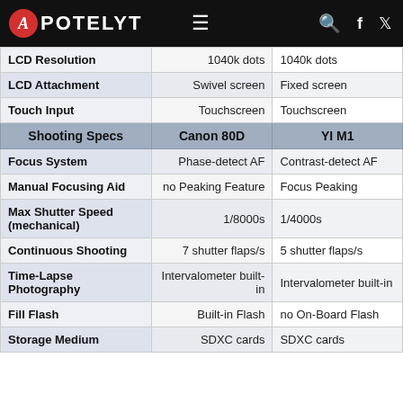APOTELYT
|  | Canon 80D | YI M1 |
| --- | --- | --- |
| LCD Resolution | 1040k dots | 1040k dots |
| LCD Attachment | Swivel screen | Fixed screen |
| Touch Input | Touchscreen | Touchscreen |
| Shooting Specs | Canon 80D | YI M1 |
| Focus System | Phase-detect AF | Contrast-detect AF |
| Manual Focusing Aid | no Peaking Feature | Focus Peaking |
| Max Shutter Speed (mechanical) | 1/8000s | 1/4000s |
| Continuous Shooting | 7 shutter flaps/s | 5 shutter flaps/s |
| Time-Lapse Photography | Intervalometer built-in | Intervalometer built-in |
| Fill Flash | Built-in Flash | no On-Board Flash |
| Storage Medium | SDXC cards | SDXC cards |